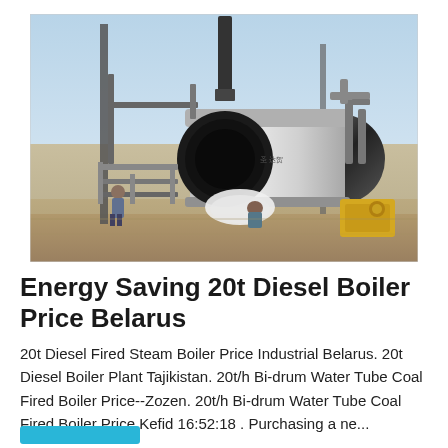[Figure (photo): Industrial boiler installation outdoors. A large horizontal drum-type boiler with pipes and scaffolding is being installed on a construction site. Workers are visible near the equipment. Blue sky in background.]
Energy Saving 20t Diesel Boiler Price Belarus
20t Diesel Fired Steam Boiler Price Industrial Belarus. 20t Diesel Boiler Plant Tajikistan. 20t/h Bi-drum Water Tube Coal Fired Boiler Price--Zozen. 20t/h Bi-drum Water Tube Coal Fired Boiler Price Kefid 16:52:18 . Purchasing a ne...